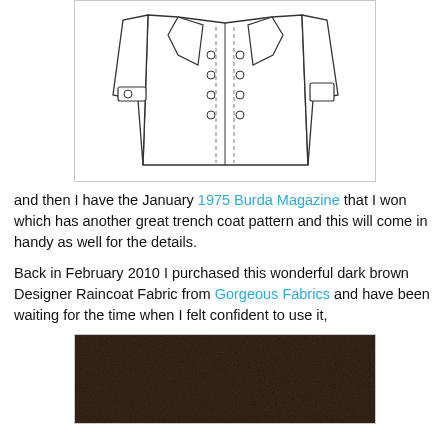[Figure (illustration): Line drawing illustration of a double-breasted trench coat pattern, showing front view with buttons, belt, and collar details]
and then I have the January 1975 Burda Magazine that I won which has another great trench coat pattern and this will come in handy as well for the details.
Back in February 2010 I purchased this wonderful dark brown Designer Raincoat Fabric from Gorgeous Fabrics and have been waiting for the time when I felt confident to use it,
[Figure (photo): Photo of dark brown raincoat fabric texture]